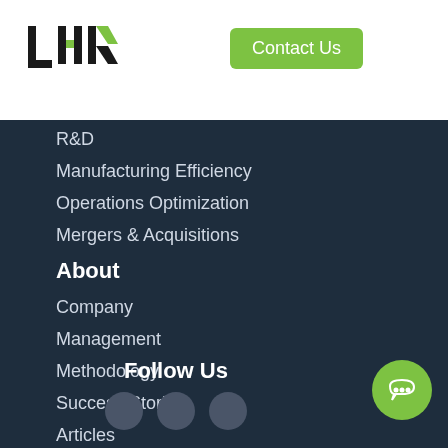[Figure (logo): LEK consulting logo, stylized letters L E K in black and green]
Contact Us
R&D
Manufacturing Efficiency
Operations Optimization
Mergers & Acquisitions
About
Company
Management
Methodology
Success Stories
Articles
Contact
Privacy Policy
Terms of Use
Home
Follow Us